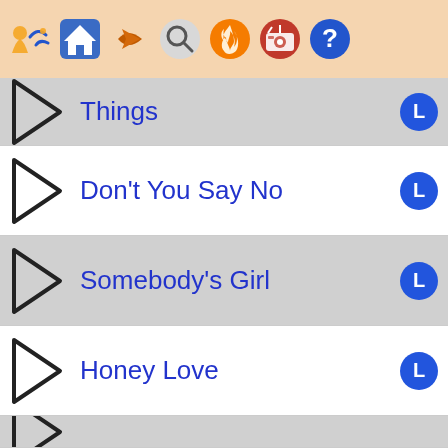[Figure (screenshot): Toolbar with app navigation icons: colorful person/accessibility icon, house/home icon, back arrow, search (magnifying glass), fire, radio, and help (question mark)]
Things
Don't You Say No
Somebody's Girl
Honey Love
(partial row at bottom)